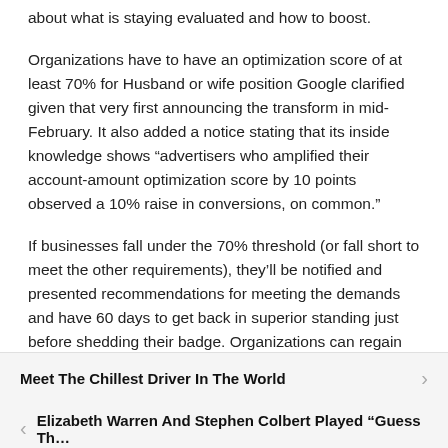about what is staying evaluated and how to boost.
Organizations have to have an optimization score of at least 70% for Husband or wife position Google clarified given that very first announcing the transform in mid-February. It also added a notice stating that its inside knowledge shows “advertisers who amplified their account-amount optimization score by 10 points observed a 10% raise in conversions, on common.”
If businesses fall under the 70% threshold (or fall short to meet the other requirements), they’ll be notified and presented recommendations for meeting the demands and have 60 days to get back in superior standing just before shedding their badge. Organizations can regain their badge when they meet the requirements once again.
Meet The Chillest Driver In The World
Elizabeth Warren And Stephen Colbert Played “Guess Th…